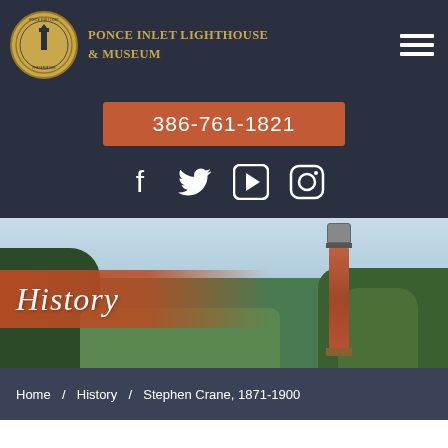Ponce Inlet Lighthouse & Museum
386-761-1821
[Figure (illustration): Social media icons: Facebook, Twitter, YouTube play button, Instagram]
[Figure (photo): Hero banner showing Ponce Inlet Lighthouse tower against a sky background with trees and vegetation, with a semi-transparent burnt orange overlay on the left containing the word 'History' in white italic script]
History
Home  /  History  /  Stephen Crane, 1871-1900
Stephen Crane,